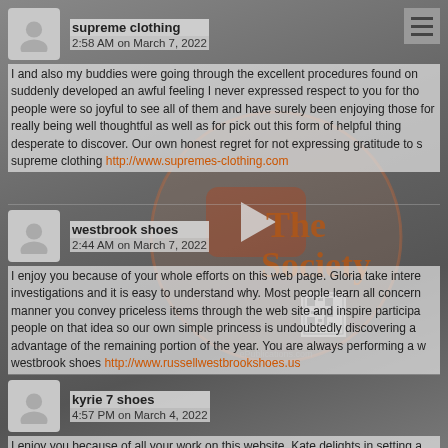supreme clothing
2:58 AM on March 7, 2022
I and also my buddies were going through the excellent procedures found on suddenly developed an awful feeling I never expressed respect to you for tho people were so joyful to see all of them and have surely been enjoying those for really being well thoughtful as well as for pick out this form of helpful thing desperate to discover. Our own honest regret for not expressing gratitude to s supreme clothing http://www.supremes-clothing.com
westbrook shoes
2:44 AM on March 7, 2022
I enjoy you because of your whole efforts on this web page. Gloria take intere investigations and it is easy to understand why. Most people learn all concern manner you convey priceless items through the web site and inspire participa people on that idea so our own simple princess is undoubtedly discovering a advantage of the remaining portion of the year. You are always performing a westbrook shoes http://www.russellwestbrookshoes.us
kyrie 7 shoes
4:57 PM on March 4, 2022
I enjoy you because of all your work on this website. Kate delights in setting a and it's simple to grasp why. My spouse and i know all of the lively manner yo tips through this blog and even strongly encourage contribution from website